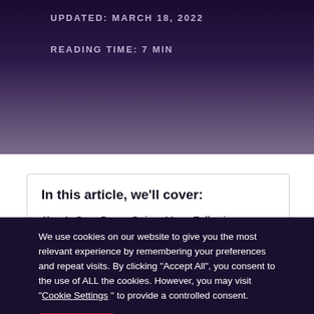UPDATED: MARCH 18, 2022
READING TIME: 7 MIN
In this article, we'll cover:
1) 1. Sour Beers Gain a Mass Following
2) 2. Lagers Get Respect in the Craft World
We use cookies on our website to give you the most relevant experience by remembering your preferences and repeat visits. By clicking "Accept All", you consent to the use of ALL the cookies. However, you may visit "Cookie Settings " to provide a controlled consent.
Accept All   Reject All   Cookie Policy